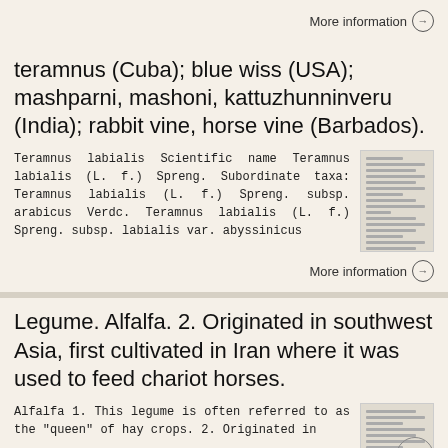More information →
teramnus (Cuba); blue wiss (USA); mashparni, mashoni, kattuzhunninveru (India); rabbit vine, horse vine (Barbados).
Teramnus labialis Scientific name Teramnus labialis (L. f.) Spreng. Subordinate taxa: Teramnus labialis (L. f.) Spreng. subsp. arabicus Verdc. Teramnus labialis (L. f.) Spreng. subsp. labialis var. abyssinicus
[Figure (screenshot): Thumbnail image of a document page with text lines]
More information →
Legume. Alfalfa. 2. Originated in southwest Asia, first cultivated in Iran where it was used to feed chariot horses.
Alfalfa 1. This legume is often referred to as the "queen" of hay crops. 2. Originated in
[Figure (screenshot): Thumbnail image of a document page with text lines]